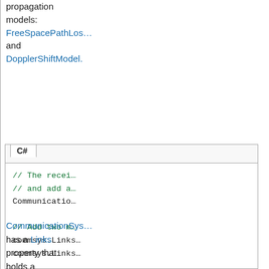propagation models: FreeSpacePathLos… and DopplerShiftModel.
[Figure (screenshot): C# code box showing communication system link setup with comments and code lines]
CommunicationSys… has a Links property that holds a collection of links in this system. We could add the